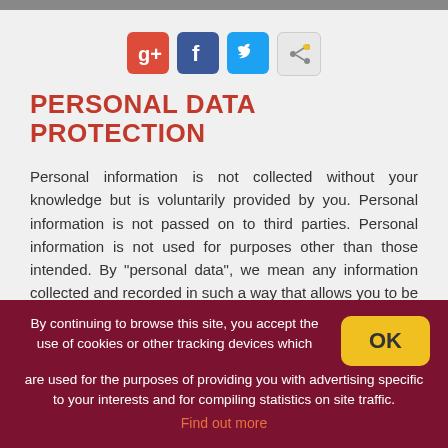[Figure (other): Social media sharing icons: Google+, Facebook, Twitter, and a mail/share icon]
PERSONAL DATA PROTECTION
Personal information is not collected without your knowledge but is voluntarily provided by you. Personal information is not passed on to third parties. Personal information is not used for purposes other than those intended. By "personal data", we mean any information collected and recorded in such a way that allows you to be identified personally, either directly (e.g. name) or indirectly (e.g. phone number). Before
By continuing to browse this site, you accept the use of cookies or other tracking devices which are used for the purposes of providing you with advertising specific to your interests and for compiling statistics on site traffic.
Find out more